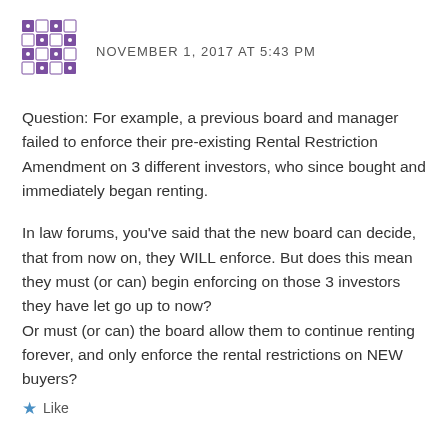[Figure (logo): Purple decorative avatar/icon with diamond pattern grid]
NOVEMBER 1, 2017 AT 5:43 PM
Question: For example, a previous board and manager failed to enforce their pre-existing Rental Restriction Amendment on 3 different investors, who since bought and immediately began renting.
In law forums, you've said that the new board can decide, that from now on, they WILL enforce. But does this mean they must (or can) begin enforcing on those 3 investors they have let go up to now?
Or must (or can) the board allow them to continue renting forever, and only enforce the rental restrictions on NEW buyers?
Like